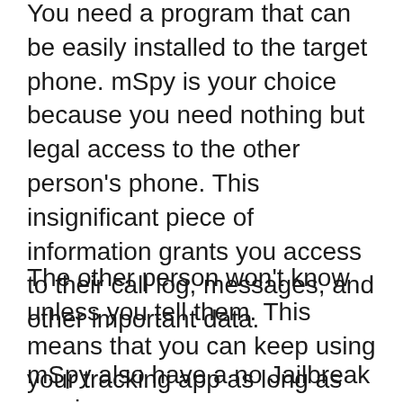You need a program that can be easily installed to the target phone. mSpy is your choice because you need nothing but legal access to the other person's phone. This insignificant piece of information grants you access to their call log, messages, and other important data.
The other person won't know unless you tell them. This means that you can keep using your tracking app as long as you want to.
mSpy also have a no Jailbreak version